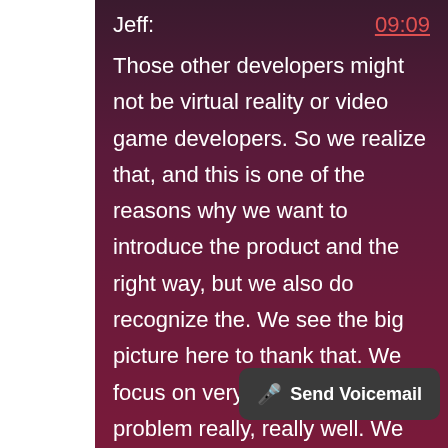Jeff:   09:09
Those other developers might not be virtual reality or video game developers. So we realize that, and this is one of the reasons why we want to introduce the product and the right way, but we also do recognize the. We see the big picture here to thank that. We focus on very VR. We solve that problem really, really well. We give people a good enough reason to purchase them from the get go. And we think within that space, VR enthusiasts, people who about this problem, we think that there
Send Voicemail